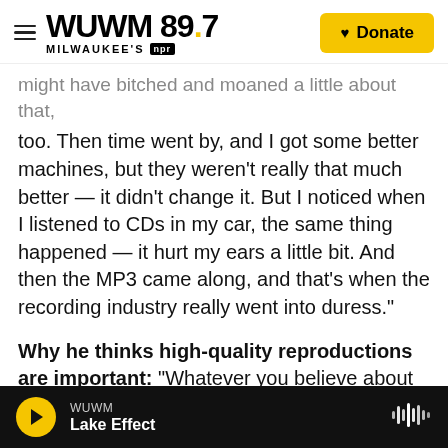WUWM 89.7 MILWAUKEE'S NPR — Donate
might have bitched and moaned a little about that, too. Then time went by, and I got some better machines, but they weren't really that much better — it didn't change it. But I noticed when I listened to CDs in my car, the same thing happened — it hurt my ears a little bit. And then the MP3 came along, and that's when the recording industry really went into duress."
Why he thinks high-quality reproductions are important: "Whatever you believe about where things come from, the human body is unbelievable. It's so sensitive. And when you give it something, it loves it. You give it good food it grows. It's
WUWM — Lake Effect